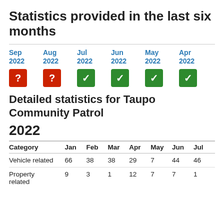Statistics provided in the last six months
[Figure (infographic): Six-month availability grid showing Sep 2022 and Aug 2022 with red question-mark icons (data not available) and Jul 2022, Jun 2022, May 2022, Apr 2022 with green checkmark icons (data available).]
Detailed statistics for Taupo Community Patrol
2022
| Category | Jan | Feb | Mar | Apr | May | Jun | Jul |
| --- | --- | --- | --- | --- | --- | --- | --- |
| Vehicle related | 66 | 38 | 38 | 29 | 7 | 44 | 46 |
| Property related | 9 | 3 | 1 | 12 | 7 | 7 | 1 |